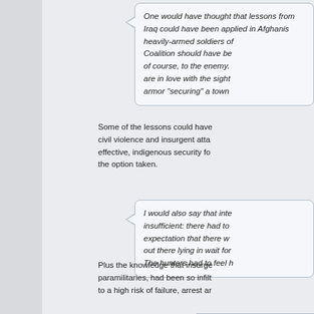One would have thought that lessons from Iraq could have been applied in Afghanistan, yet the same mistake of using heavily-armed soldiers occurred there too. The International Coalition should have been invisible, except as a visible threat, of course, to the enemy. One suspects that senior officers are in love with the sight of Humvees, Bradley's, and heavy armor "securing" a town
Some of the lessons could have been drawn from protecting civil violence and insurgent attacks. Rather than developing effective, indigenous security forces is not, unfortunately, the option taken.
I would also say that intelligence was, to begin with, insufficient: there had to be a mindset change, to an expectation that there were hunters everywhere, that were out there lying in wait for us, and not just outlaws. The hunters had to feel h
Plus the knowledge that insurgents, whether political or paramilitaries, had been so infiltrated that any joining led to a high risk of failure, arrest ar